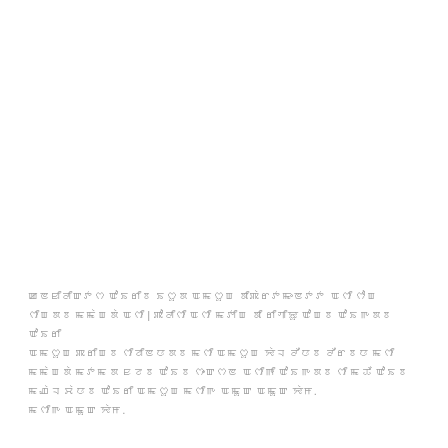ꯀꯟꯐꯤꯂꯤꯛꯇꯁ ꯑꯣꯏꯔꯤꯕ ꯏꯁꯨꯗ ꯑꯃꯁꯨꯡ ꯗꯤꯄꯥꯔꯇꯃꯦꯟꯇꯇ ꯑꯁꯤ ꯁꯣꯡ ꯁꯤꯡꯗꯕ ꯃꯃꯥꯡꯗꯥ ꯑꯁꯤ | ꯄꯣꯂꯤꯁꯤ ꯑꯁꯤ ꯃꯇꯤꯡ ꯗꯤ ꯔꯤꯚꯤꯌꯨ ꯑꯣꯡꯕ ꯑꯣꯏꯒꯗꯕ ꯑꯣꯏꯔꯤ ꯑꯃꯁꯨꯡ ꯄꯔꯤꯡꯕ ꯁꯤꯖꯤꯟꯅꯗꯕ ꯃꯁꯤ ꯑꯃꯁꯨꯡ ꯌꯥꯜ ꯂꯩꯅꯕ ꯂꯩꯔꯕꯅ ꯃꯁꯤ ꯃꯃꯥꯡꯗꯥ ꯃꯇꯃꯗ ꯐꯖꯕ ꯑꯣꯏꯕ ꯁꯦꯛꯁꯟ ꯑꯁꯤꯒꯤ ꯑꯣꯏꯒꯗꯕ ꯁꯤ ꯃꯊꯧ ꯑꯣꯏꯕ ꯃꯉꯥꯜ ꯆꯥꯅꯕ ꯑꯣꯏꯔꯤ ꯑꯃꯁꯨꯡ ꯃꯁꯤꯒ ꯑꯃꯨꯛ ꯑꯃꯨꯛ ꯌꯥꯝ.